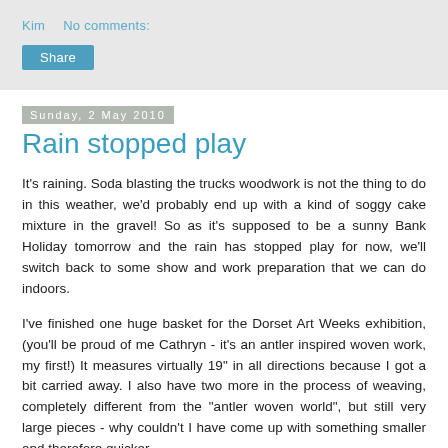Kim    No comments:
Share
Sunday, 2 May 2010
Rain stopped play
It's raining. Soda blasting the trucks woodwork is not the thing to do in this weather, we'd probably end up with a kind of soggy cake mixture in the gravel! So as it's supposed to be a sunny Bank Holiday tomorrow and the rain has stopped play for now, we'll switch back to some show and work preparation that we can do indoors.
I've finished one huge basket for the Dorset Art Weeks exhibition, (you'll be proud of me Cathryn - it's an antler inspired woven work, my first!) It measures virtually 19" in all directions because I got a bit carried away. I also have two more in the process of weaving, completely different from the "antler woven world", but still very large pieces - why couldn't I have come up with something smaller and therefore quicker